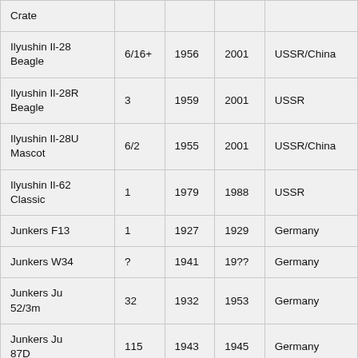| Crate |  |  |  |  |
| Ilyushin Il-28 Beagle | 6/16+ | 1956 | 2001 | USSR/China |
| Ilyushin Il-28R Beagle | 3 | 1959 | 2001 | USSR |
| Ilyushin Il-28U Mascot | 6/2 | 1955 | 2001 | USSR/China |
| Ilyushin Il-62 Classic | 1 | 1979 | 1988 | USSR |
| Junkers F13 | 1 | 1927 | 1929 | Germany |
| Junkers W34 | ? | 1941 | 19?? | Germany |
| Junkers Ju 52/3m | 32 | 1932 | 1953 | Germany |
| Junkers Ju 87D | 115 | 1943 | 1945 | Germany |
| Junkers Ju |  |  |  |  |